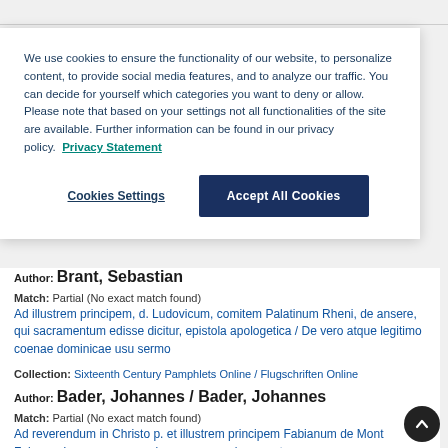We use cookies to ensure the functionality of our website, to personalize content, to provide social media features, and to analyze our traffic. You can decide for yourself which categories you want to deny or allow. Please note that based on your settings not all functionalities of the site are available. Further information can be found in our privacy policy.  Privacy Statement
Cookies Settings | Accept All Cookies
Author: Brant, Sebastian
Match: Partial (No exact match found)
Ad illustrem principem, d. Ludovicum, comitem Palatinum Rheni, de ansere, qui sacramentum edisse dicitur, epistola apologetica / De vero atque legitimo coenae dominicae usu sermo
Collection: Sixteenth Century Pamphlets Online / Flugschriften Online
Author: Bader, Johannes / Bader, Johannes
Match: Partial (No exact match found)
Ad reverendum in Christo p. et illustrem principem Fabianum de Mont Falcone, Lansanensem episcopum, paradoxa centum